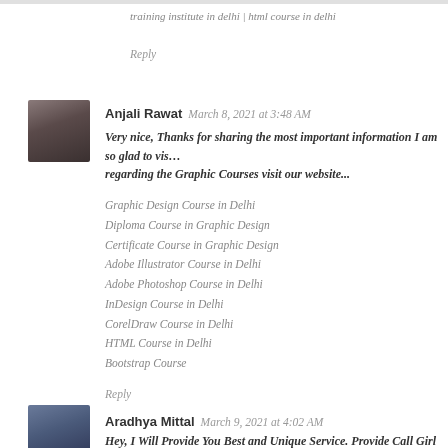training institute in delhi | html course in delhi
Reply
[Figure (photo): Avatar photo of Anjali Rawat]
Anjali Rawat  March 8, 2021 at 3:48 AM
Very nice, Thanks for sharing the most important information I am so glad to vis… regarding the Graphic Courses visit our website...
Graphic Design Course in Delhi
Diploma Course in Graphic Design
Certificate Course in Graphic Design
Adobe Illustrator Course in Delhi
Adobe Photoshop Course in Delhi
InDesign Course in Delhi
CorelDraw Course in Delhi
HTML Course in Delhi
Bootstrap Course
Reply
[Figure (photo): Avatar photo of Aradhya Mittal]
Aradhya Mittal  March 9, 2021 at 4:02 AM
Hey, I Will Provide You Best and Unique Service. Provide Call Girl in Del…